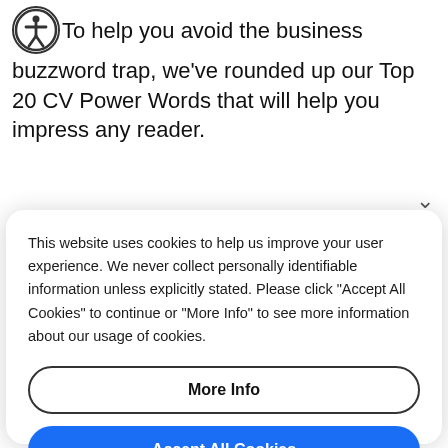To help you avoid the business buzzword trap, we've rounded up our Top 20 CV Power Words that will help you impress any reader.
This website uses cookies to help us improve your user experience. We never collect personally identifiable information unless explicitly stated. Please click "Accept All Cookies" to continue or "More Info" to see more information about our usage of cookies.
More Info
Accept All Cookies